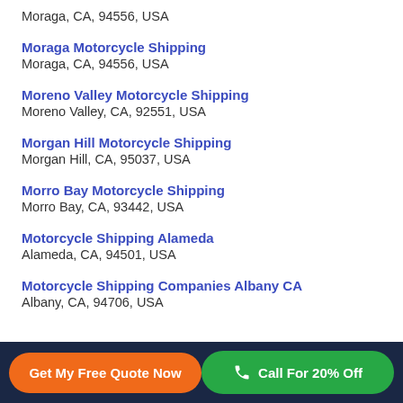Moraga, CA, 94556, USA
Moraga Motorcycle Shipping
Moraga, CA, 94556, USA
Moreno Valley Motorcycle Shipping
Moreno Valley, CA, 92551, USA
Morgan Hill Motorcycle Shipping
Morgan Hill, CA, 95037, USA
Morro Bay Motorcycle Shipping
Morro Bay, CA, 93442, USA
Motorcycle Shipping Alameda
Alameda, CA, 94501, USA
Motorcycle Shipping Companies Albany CA
Albany, CA, 94706, USA
Get My Free Quote Now | Call For 20% Off